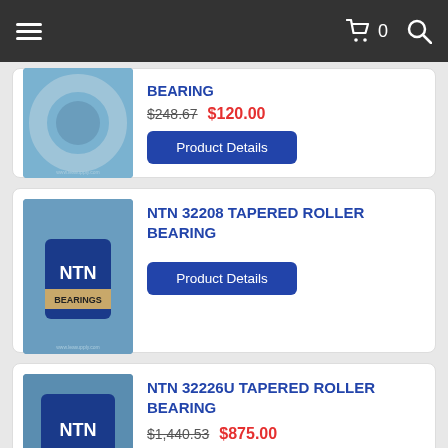Navigation bar with hamburger menu, cart (0 items), and search
[Figure (photo): Close-up photo of a large bearing ring on blue background with watermark www.leasupply.com]
BEARING
$248.67  $120.00
Product Details
[Figure (photo): NTN Bearings box product photo on blue background with watermark www.leasupply.com]
NTN 32208 TAPERED ROLLER BEARING
Product Details
[Figure (photo): NTN Bearings product photo on blue background, partially visible]
NTN 32226U TAPERED ROLLER BEARING
$1,440.53  $875.00